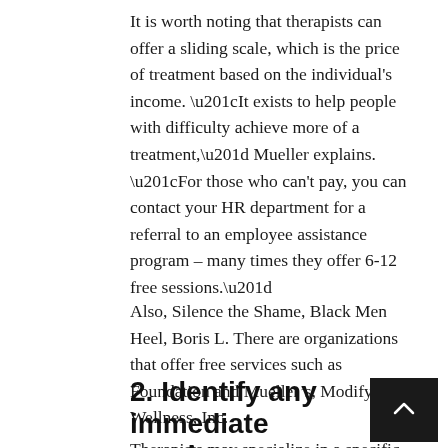It is worth noting that therapists can offer a sliding scale, which is the price of treatment based on the individual's income. “It exists to help people with difficulty achieve more of a treatment,” Mueller explains. “For those who can’t pay, you can contact your HR department for a referral to an employee assistance program – many times they offer 6-12 free sessions.”
Also, Silence the Shame, Black Men Heel, Boris L. There are organizations that offer free services such as Foundation and Mueller’s, Modify Wellness, Inc.
2. Identify any immediate needs
Therapists may specialize in a specific